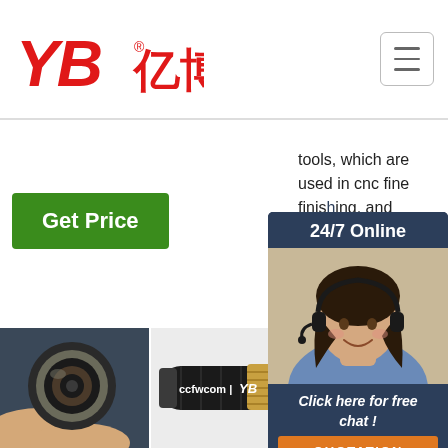[Figure (logo): YB 亿博 company logo in red italic letters with registered trademark symbol]
[Figure (illustration): Hamburger menu icon button (three horizontal lines) in top right corner]
tools, which are used in cnc fine finishing, and bearing, auto, disk, eng...
Get Price
[Figure (infographic): Customer service chat overlay with dark navy header showing '24/7 Online', photo of smiling female customer service agent with headset, text 'Click here for free chat!', and orange QUOTATION button]
[Figure (photo): Hand holding a hydraulic hose cross-section end showing internal layers]
[Figure (photo): YB branded black hydraulic hose with gold braided reinforcement band, labeled 'ccfwcom | YB']
[Figure (photo): Hand holding hydraulic hose end with orange TOP logo overlay]